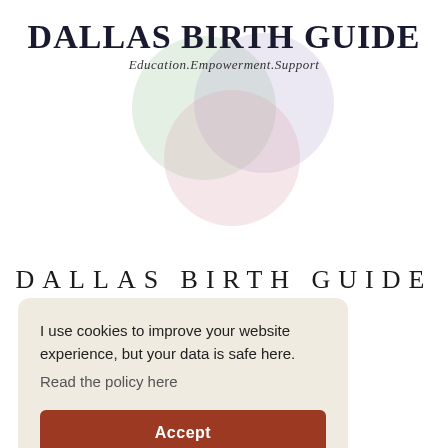[Figure (logo): Dallas Birth Guide logo with overlapping translucent colored circles (green, purple, pink) and bold text 'DALLAS BIRTH GUIDE' with italic subtitle 'Education.Empowerment.Support']
DALLAS BIRTH GUIDE
as Birth
n before I
chat about
I use cookies to improve your website experience, but your data is safe here. Read the policy here
Accept